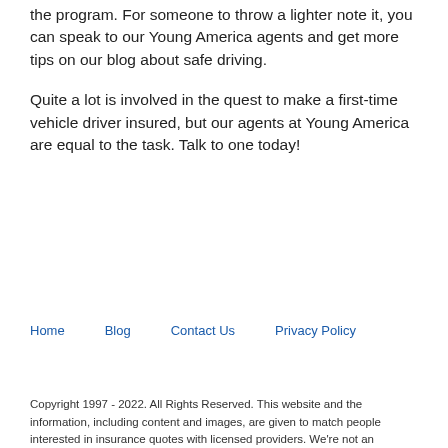the program. For someone to throw a lighter note it, you can speak to our Young America agents and get more tips on our blog about safe driving.
Quite a lot is involved in the quest to make a first-time vehicle driver insured, but our agents at Young America are equal to the task. Talk to one today!
Home   Blog   Contact Us   Privacy Policy
Copyright 1997 - 2022. All Rights Reserved. This website and the information, including content and images, are given to match people interested in insurance quotes with licensed providers. We're not an